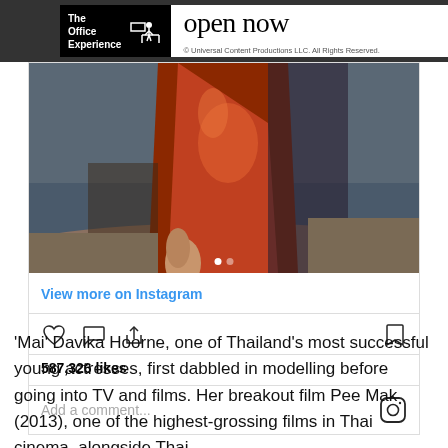[Figure (screenshot): The Office Experience advertisement banner with logo and 'open now' text]
[Figure (photo): Instagram post showing a person in a red/orange dress on a beach]
View more on Instagram
587,326 likes
Add a comment...
'Mai' Davika Hoorne, one of Thailand's most successful young actresses, first dabbled in modelling before going into TV and films. Her breakout film Pee Mak (2013), one of the highest-grossing films in Thai cinema, alongside Thai